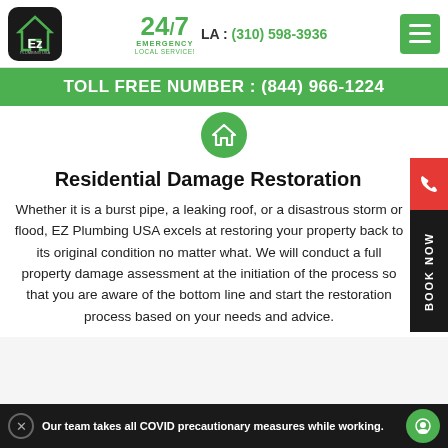EZ Plumbing USA — 24/7 Emergency Local Service! LA: (310) 598-3936
TOLL FREE NUMBER : (844) 966-1224
Residential Damage Restoration
Whether it is a burst pipe, a leaking roof, or a disastrous storm or flood, EZ Plumbing USA excels at restoring your property back to its original condition no matter what. We will conduct a full property damage assessment at the initiation of the process so that you are aware of the bottom line and start the restoration process based on your needs and advice.
Our team takes all COVID precautionary measures while working.